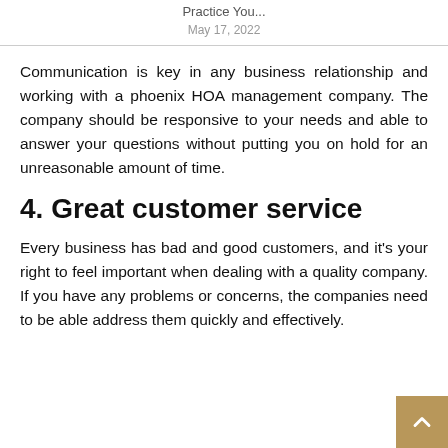Practice You...
May 17, 2022
Communication is key in any business relationship and working with a phoenix HOA management company. The company should be responsive to your needs and able to answer your questions without putting you on hold for an unreasonable amount of time.
4. Great customer service
Every business has bad and good customers, and it's your right to feel important when dealing with a quality company. If you have any problems or concerns, the companies need to be able address them quickly and effectively.